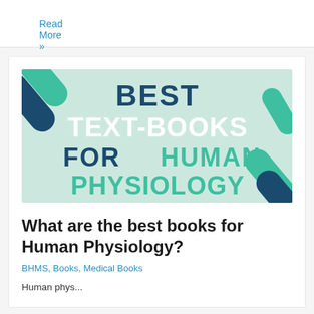Read More »
[Figure (illustration): Promotional banner image with light green background and decorative pill/capsule shapes in teal and dark navy. Large bold text reads: BEST TEXT-BOOKS FOR HUMAN PHYSIOLOGY, with 'BEST' in dark navy, 'TEXT-BOOKS' in white, 'FOR' in dark navy, 'HUMAN PHYSIOLOGY' in teal/green.]
What are the best books for Human Physiology?
BHMS, Books, Medical Books
Human phys...